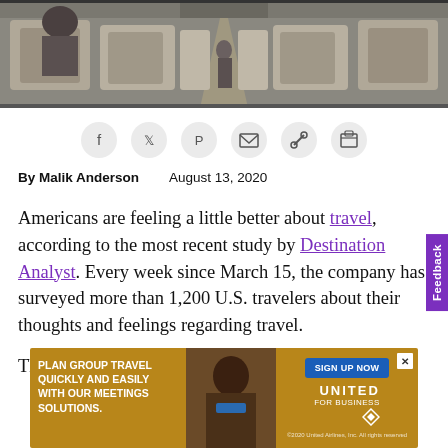[Figure (photo): Interior of an airplane cabin showing rows of seats from the front, aisle visible in center]
[Figure (infographic): Social sharing buttons: Facebook, Twitter, Pinterest, Email, Link, Print]
By Malik Anderson    August 13, 2020
Americans are feeling a little better about travel, according to the most recent study by Destination Analyst. Every week since March 15, the company has surveyed more than 1,200 U.S. travelers about their thoughts and feelings regarding travel.
The latest study reports increased enthusiasm, driven by...
[Figure (infographic): United Airlines advertisement: Plan Group Travel Quickly and Easily With Our Meetings Solutions. Sign Up Now. United For Business.]